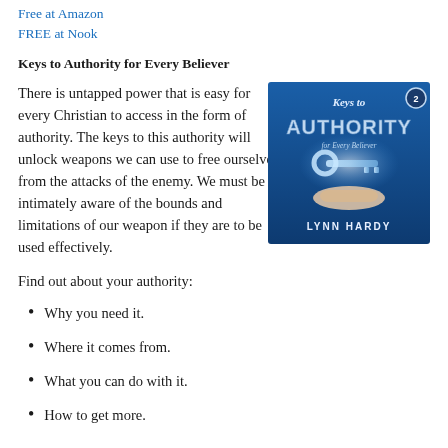Free at Amazon
FREE at Nook
Keys to Authority for Every Believer
There is untapped power that is easy for every Christian to access in the form of authority. The keys to this authority will unlock weapons we can use to free ourselves from the attacks of the enemy. We must be intimately aware of the bounds and limitations of our weapon if they are to be used effectively.
[Figure (illustration): Book cover for 'Keys to Authority for Every Believer' by Lynn Hardy. Blue background with a glowing key floating above an open hand. Large metallic text reads 'Keys to AUTHORITY for Every Believer'. Author name 'LYNN HARDY' at bottom.]
Find out about your authority:
Why you need it.
Where it comes from.
What you can do with it.
How to get more.